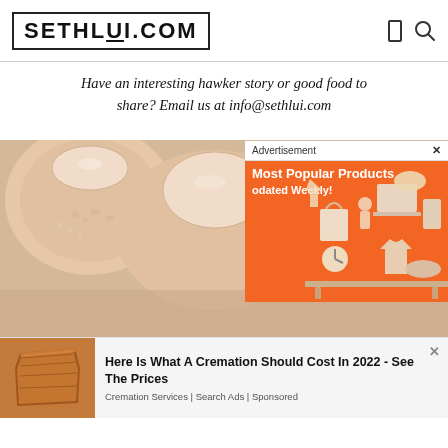SETHLUI.COM
Have an interesting hawker story or good food to share? Email us at info@sethlui.com
[Figure (photo): Close-up photograph of human fingers and fingernails on a light background]
[Figure (infographic): Advertisement overlay with orange background showing 'Most Popular Products Updated Weekly!' with shopping icons]
[Figure (other): Bottom advertisement showing a wooden coffin image with text 'Here Is What A Cremation Should Cost In 2022 - See The Prices' and label 'Cremation Services | Search Ads | Sponsored']